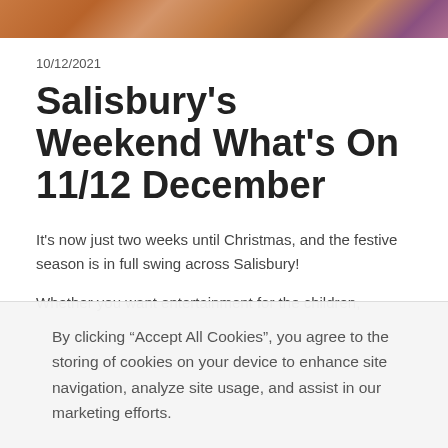[Figure (photo): Decorative banner image with warm orange and brown tones, possibly a festive or wooden floor scene]
10/12/2021
Salisbury's Weekend What's On 11/12 December
It's now just two weeks until Christmas, and the festive season is in full swing across Salisbury!
Whether you want entertainment for the children,
By clicking “Accept All Cookies”, you agree to the storing of cookies on your device to enhance site navigation, analyze site usage, and assist in our marketing efforts.